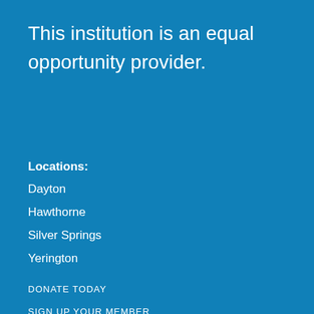This institution is an equal opportunity provider.
Locations:
Dayton
Hawthorne
Silver Springs
Yerington
DONATE TODAY
SIGN UP YOUR MEMBER